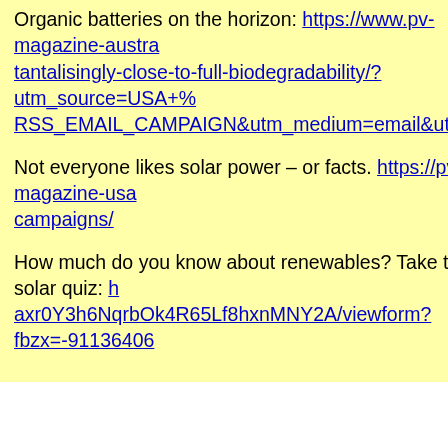Organic batteries on the horizon: https://www.pv-magazine-austra...tantalisingly-close-to-full-biodegradability/?utm_source=USA+%...RSS_EMAIL_CAMPAIGN&utm_medium=email&utm_term=0_8...
Not everyone likes solar power – or facts. https://pv-magazine-usa...campaigns/
How much do you know about renewables? Take the solar quiz: h...axr0Y3h6NqrbOk4R65Lf8hxnMNY2A/viewform?fbzx=-91136406...
Of inte
From the Guardian:
Fossil fuels versus our future: yo...fight
Quo
There is just one hope of repulsing the tyrannical ambition of...of spirited people who will fight for the freedom of the wilder...